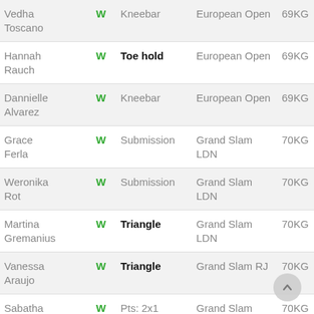| Name | Result | Method | Event | Weight | Round |
| --- | --- | --- | --- | --- | --- |
| Vedha Toscano | W | Kneebar | European Open | 69KG | 4F |
| Hannah Rauch | W | Toe hold | European Open | 69KG | SF |
| Dannielle Alvarez | W | Kneebar | European Open | 69KG | F |
| Grace Ferla | W | Submission | Grand Slam LDN | 70KG | 4F |
| Weronika Rot | W | Submission | Grand Slam LDN | 70KG | SF |
| Martina Gremanius | W | Triangle | Grand Slam LDN | 70KG | F |
| Vanessa Araujo | W | Triangle | Grand Slam RJ | 70KG | 4F |
| Sabatha | W | Pts: 2x1 | Grand Slam | 70KG | SF |